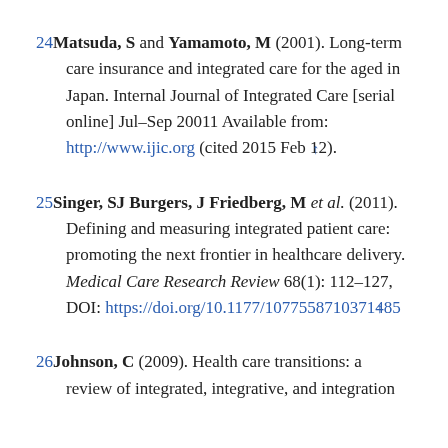24 Matsuda, S and Yamamoto, M (2001). Long-term care insurance and integrated care for the aged in Japan. Internal Journal of Integrated Care [serial online] Jul–Sep 20011 Available from: http://www.ijic.org (cited 2015 Feb 12). ↑
25 Singer, SJ Burgers, J Friedberg, M et al. (2011). Defining and measuring integrated patient care: promoting the next frontier in healthcare delivery. Medical Care Research Review 68(1): 112–127, DOI: https://doi.org/10.1177/1077558710371485 ↑
26 Johnson, C (2009). Health care transitions: a review of integrated, integrative, and integration